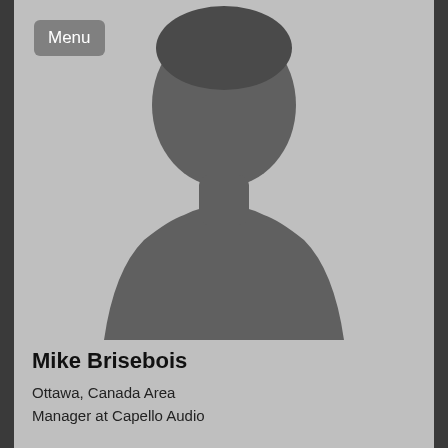Menu
[Figure (photo): Default silhouette placeholder profile image of a person against a gray background]
Mike Brisebois
Ottawa, Canada Area
Manager at Capello Audio